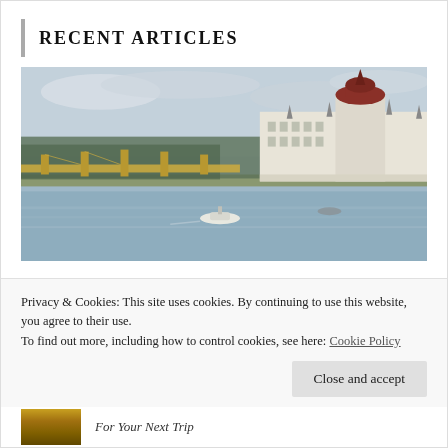RECENT ARTICLES
[Figure (photo): Aerial view of the Hungarian Parliament Building along the Danube river in Budapest, with a bridge visible on the left and a boat on the water]
Privacy & Cookies: This site uses cookies. By continuing to use this website, you agree to their use.
To find out more, including how to control cookies, see here: Cookie Policy
Close and accept
For Your Next Trip